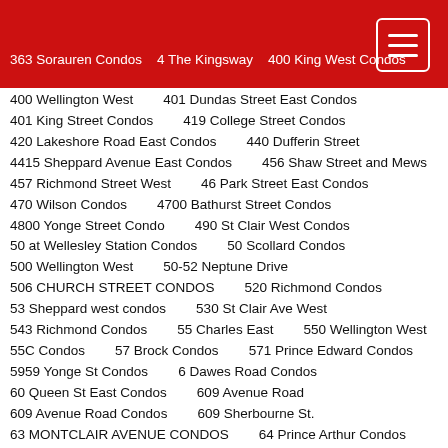363 Sorauren Condos   4 The Kingsway   400 King West Condos
400 Wellington West   401 Dundas Street East Condos
401 King Street Condos   419 College Street Condos
420 Lakeshore Road East Condos   440 Dufferin Street
4415 Sheppard Avenue East Condos   456 Shaw Street and Mews
457 Richmond Street West   46 Park Street East Condos
470 Wilson Condos   4700 Bathurst Street Condos
4800 Yonge Street Condo   490 St Clair West Condos
50 at Wellesley Station Condos   50 Scollard Condos
500 Wellington West   50-52 Neptune Drive
506 CHURCH STREET CONDOS   520 Richmond Condos
53 Sheppard west condos   530 St Clair Ave West
543 Richmond Condos   55 Charles East   550 Wellington West
55C Condos   57 Brock Condos   571 Prince Edward Condos
5959 Yonge St Condos   6 Dawes Road Condos
60 Queen St East Condos   609 Avenue Road
609 Avenue Road Condos   609 Sherbourne St.
63 MONTCLAIR AVENUE CONDOS   64 Prince Arthur Condos
65 Raglan Avenue Condos   660 Leaside Condos
6616 McLaughlin Rd   675 Progress Condos   68 Main Street
7 On The Park Condos   707 Lofts   717 Church Street Condo
724 Sheppard West   75 On The Esplanade   77 Charles West
8 Cedarland Condos   8 Gladstone   8 Locust Street Condos